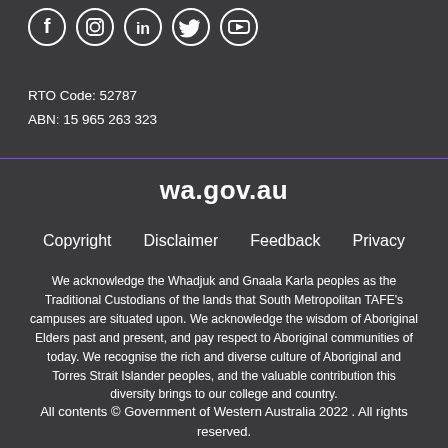[Figure (illustration): Row of social media icons: Facebook, Instagram, LinkedIn, Twitter, YouTube — white icons on dark background]
RTO Code: 52787
ABN: 15 965 263 323
wa.gov.au
Copyright    Disclaimer    Feedback    Privacy
We acknowledge the Whadjuk and Gnaala Karla peoples as the Traditional Custodians of the lands that South Metropolitan TAFE's campuses are situated upon. We acknowledge the wisdom of Aboriginal Elders past and present, and pay respect to Aboriginal communities of today. We recognise the rich and diverse culture of Aboriginal and Torres Strait Islander peoples, and the valuable contribution this diversity brings to our college and country.
All contents © Government of Western Australia 2022 . All rights reserved.